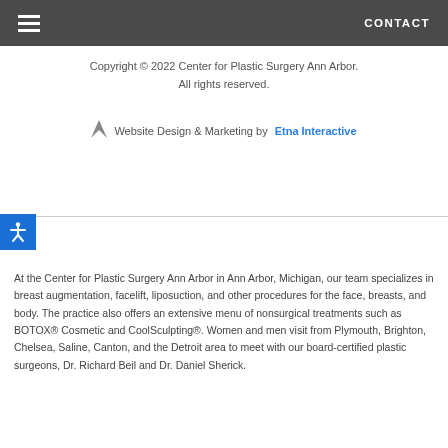CONTACT
Copyright © 2022 Center for Plastic Surgery Ann Arbor. All rights reserved.
Website Design & Marketing by Etna Interactive
At the Center for Plastic Surgery Ann Arbor in Ann Arbor, Michigan, our team specializes in breast augmentation, facelift, liposuction, and other procedures for the face, breasts, and body. The practice also offers an extensive menu of nonsurgical treatments such as BOTOX® Cosmetic and CoolSculpting®. Women and men visit from Plymouth, Brighton, Chelsea, Saline, Canton, and the Detroit area to meet with our board-certified plastic surgeons, Dr. Richard Beil and Dr. Daniel Sherick.